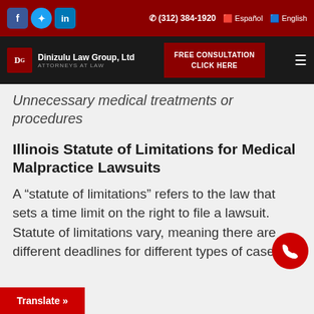Dinizulu Law Group, Ltd | (312) 384-1920 | Español | English
Unnecessary medical treatments or procedures
Illinois Statute of Limitations for Medical Malpractice Lawsuits
A “statute of limitations” refers to the law that sets a time limit on the right to file a lawsuit. Statute of limitations vary, meaning there are different deadlines for different types of cases.